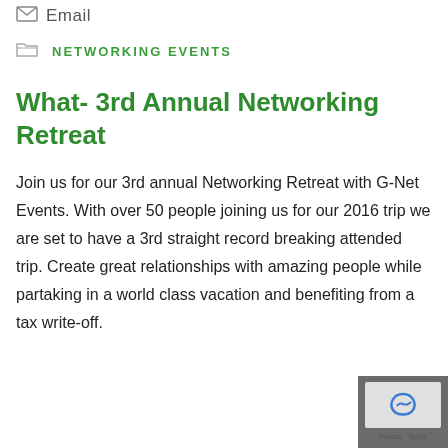Email
NETWORKING EVENTS
What- 3rd Annual Networking Retreat
Join us for our 3rd annual Networking Retreat with G-Net Events. With over 50 people joining us for our 2016 trip we are set to have a 3rd straight record breaking attended trip. Create great relationships with amazing people while partaking in a world class vacation and benefiting from a tax write-off.